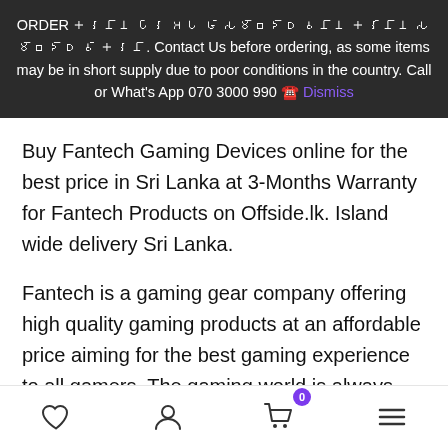ORDER 🇱🇰 කරන්න පෙර අප හා සම්බන්ධ වන්න, Contact Us before ordering, as some items may be in short supply due to poor conditions in the country. Call or What's App 070 3000 990 ☎️ Dismiss
Buy Fantech Gaming Devices online for the best price in Sri Lanka at 3-Months Warranty for Fantech Products on Offside.lk. Island wide delivery Sri Lanka.
Fantech is a gaming gear company offering high quality gaming products at an affordable price aiming for the best gaming experience to all gamers, The gaming world is always evolving and we are dedicated to meet this challenge through better gears and game integration, we'll elevate your